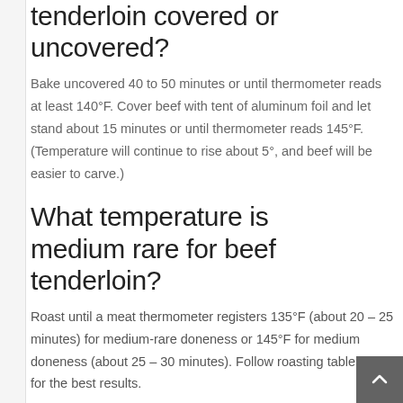tenderloin covered or uncovered?
Bake uncovered 40 to 50 minutes or until thermometer reads at least 140°F. Cover beef with tent of aluminum foil and let stand about 15 minutes or until thermometer reads 145°F. (Temperature will continue to rise about 5°, and beef will be easier to carve.)
What temperature is medium rare for beef tenderloin?
Roast until a meat thermometer registers 135°F (about 20 – 25 minutes) for medium-rare doneness or 145°F for medium doneness (about 25 – 30 minutes). Follow roasting table below for the best results.